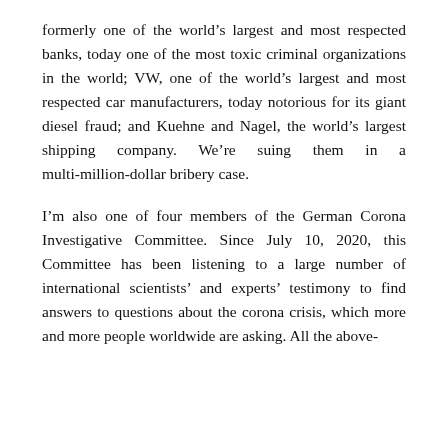formerly one of the world's largest and most respected banks, today one of the most toxic criminal organizations in the world; VW, one of the world's largest and most respected car manufacturers, today notorious for its giant diesel fraud; and Kuehne and Nagel, the world's largest shipping company. We're suing them in a multi-million-dollar bribery case.
I'm also one of four members of the German Corona Investigative Committee. Since July 10, 2020, this Committee has been listening to a large number of international scientists' and experts' testimony to find answers to questions about the corona crisis, which more and more people worldwide are asking. All the above-